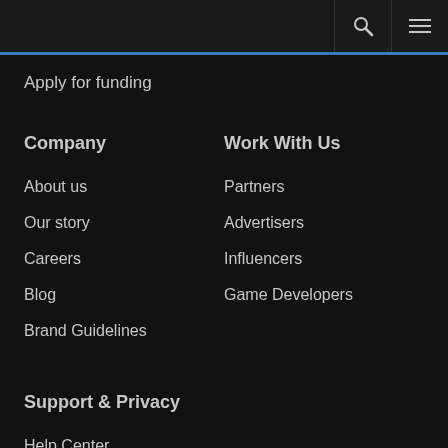Apply for funding
Company
About us
Our story
Careers
Blog
Brand Guidelines
Work With Us
Partners
Advertisers
Influencers
Game Developers
Support & Privacy
Help Center